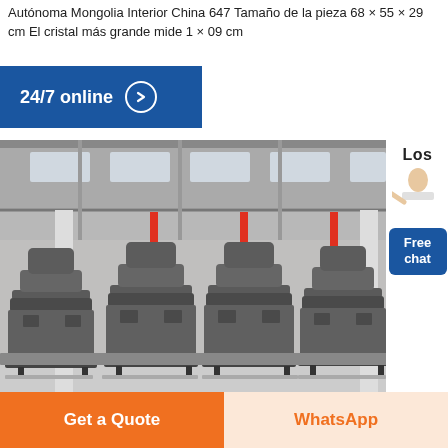Autónoma Mongolia Interior China 647 Tamaño de la pieza 68 × 55 × 29 cm El cristal más grande mide 1 × 09 cm
[Figure (screenshot): Blue button with '24/7 online' text and right-arrow circle icon]
[Figure (photo): Factory floor with large industrial grey grinding mill machines (4 units) lined up inside a large steel-framed warehouse building with red banners]
[Figure (screenshot): Right side panel showing 'Los' text, person icon, and blue 'Free chat' button]
[Figure (screenshot): Bottom call-to-action buttons: orange 'Get a Quote' and light orange 'WhatsApp']